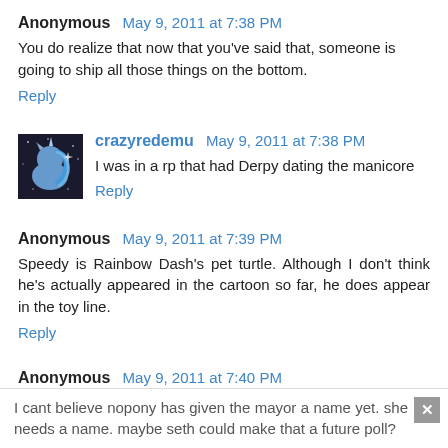Anonymous May 9, 2011 at 7:38 PM
You do realize that now that you've said that, someone is going to ship all those things on the bottom.
Reply
[Figure (illustration): Small avatar image of a blue cartoon pony character on dark background]
crazyredemu May 9, 2011 at 7:38 PM
I was in a rp that had Derpy dating the manicore
Reply
Anonymous May 9, 2011 at 7:39 PM
Speedy is Rainbow Dash's pet turtle. Although I don't think he's actually appeared in the cartoon so far, he does appear in the toy line.
Reply
Anonymous May 9, 2011 at 7:40 PM
I cant believe nopony has given the mayor a name yet. she needs a name. maybe seth could make that a future poll?